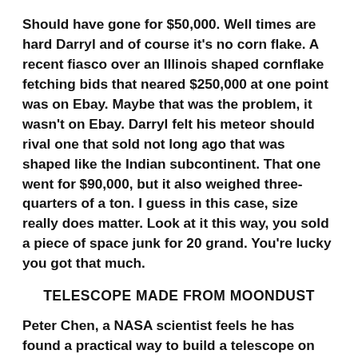Should have gone for $50,000. Well times are hard Darryl and of course it's no corn flake. A recent fiasco over an Illinois shaped cornflake fetching bids that neared $250,000 at one point was on Ebay. Maybe that was the problem, it wasn't on Ebay. Darryl felt his meteor should rival one that sold not long ago that was shaped like the Indian subcontinent. That one went for $90,000, but it also weighed three-quarters of a ton. I guess in this case, size really does matter. Look at it this way, you sold a piece of space junk for 20 grand. You're lucky you got that much.
TELESCOPE MADE FROM MOONDUST
Peter Chen, a NASA scientist feels he has found a practical way to build a telescope on the moon. Why we need one I haven't quite figured out yet, but he